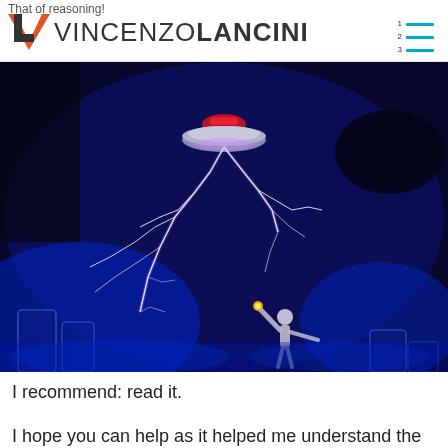That of reasoning!
VINCENZO LANCINI
[Figure (photo): A Tesla coil producing large electrical arcs/lightning bolts in a dark blue-lit room, with a person figure reaching up toward the sparks from below, flanked by cylindrical glass structures.]
I recommend: read it.
I hope you can help as it helped me understand the